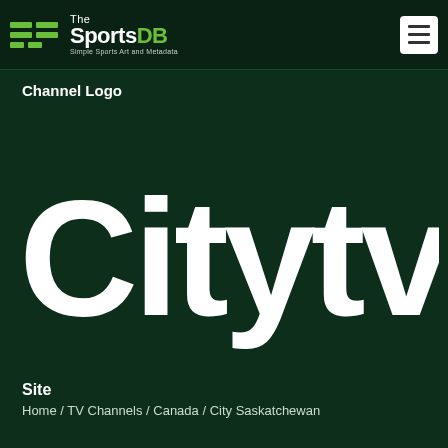The SportsDB — Simple Sports Art and Metadata
Channel Logo
[Figure (logo): Citytv channel logo — large white bold text 'Citytv' on dark green background]
Site
Home / TV Channels / Canada / City Saskatchewan